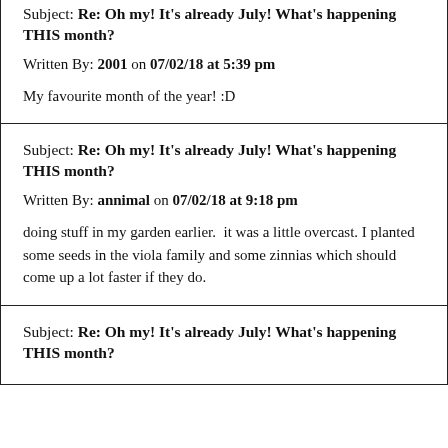Subject: Re: Oh my! It's already July! What's happening THIS month?
Written By: 2001 on 07/02/18 at 5:39 pm
My favourite month of the year! :D
Subject: Re: Oh my! It's already July! What's happening THIS month?
Written By: annimal on 07/02/18 at 9:18 pm
doing stuff in my garden earlier.  it was a little overcast. I planted some seeds in the viola family and some zinnias which should come up a lot faster if they do.
Subject: Re: Oh my! It's already July! What's happening THIS month?